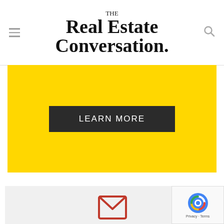THE Real Estate Conversation.
[Figure (other): Yellow banner with LEARN MORE button]
[Figure (other): Email newsletter signup box with envelope icon, text 'Keep the conversation going with Recon Daily', email input field and SUBSCRIBE button]
Keep the conversation going with Recon Daily
Your email address...
SUBSCRIBE